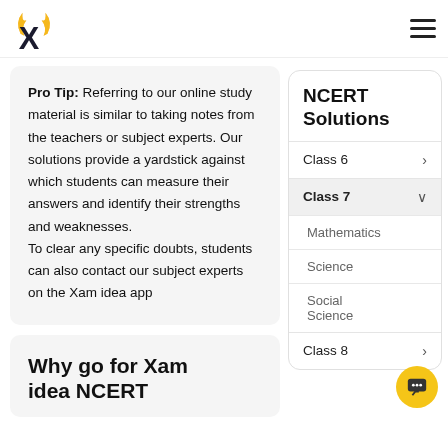Xam idea — NCERT Solutions navigation page header with logo and hamburger menu
Pro Tip: Referring to our online study material is similar to taking notes from the teachers or subject experts. Our solutions provide a yardstick against which students can measure their answers and identify their strengths and weaknesses.

To clear any specific doubts, students can also contact our subject experts on the Xam idea app
NCERT Solutions
Class 6 >
Class 7 ∨
Mathematics
Science
Social Science
Class 8 >
Why go for Xam idea NCERT